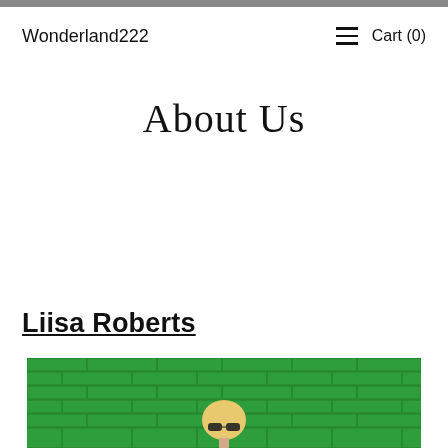Wonderland222   ☰   Cart (0)
About Us
Liisa Roberts
[Figure (photo): Photo of a blonde woman wearing sunglasses in front of a green painted brick wall]